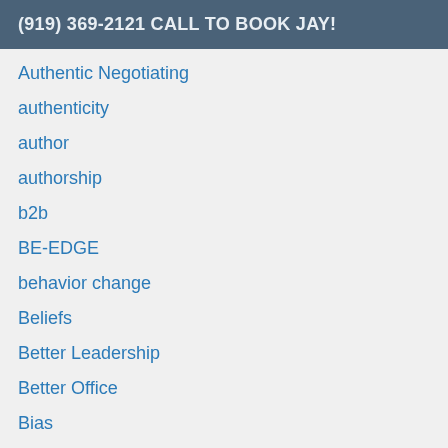(919) 369-2121 CALL TO BOOK JAY!
Authentic Negotiating
authenticity
author
authorship
b2b
BE-EDGE
behavior change
Beliefs
Better Leadership
Better Office
Bias
black friday
Body Language